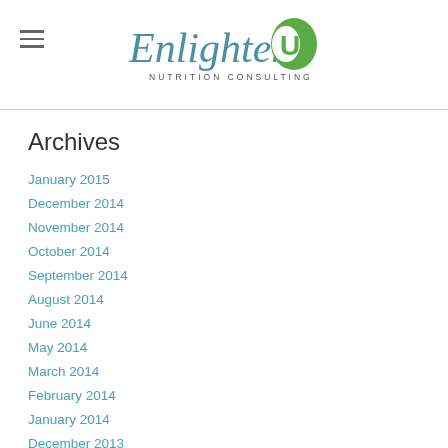EnlightenU Nutrition Consulting
Archives
January 2015
December 2014
November 2014
October 2014
September 2014
August 2014
June 2014
May 2014
March 2014
February 2014
January 2014
December 2013
November 2013
October 2013